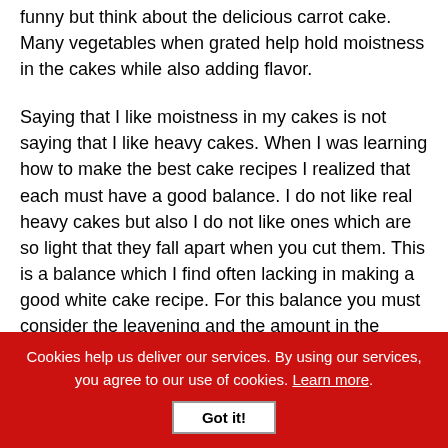funny but think about the delicious carrot cake. Many vegetables when grated help hold moistness in the cakes while also adding flavor.
Saying that I like moistness in my cakes is not saying that I like heavy cakes. When I was learning how to make the best cake recipes I realized that each must have a good balance. I do not like real heavy cakes but also I do not like ones which are so light that they fall apart when you cut them. This is a balance which I find often lacking in making a good white cake recipe. For this balance you must consider the leavening and the amount in the recipe compared to the other
Cookies help us deliver our services. By using our services, you agree to our use of cookies. Learn more. Got it!